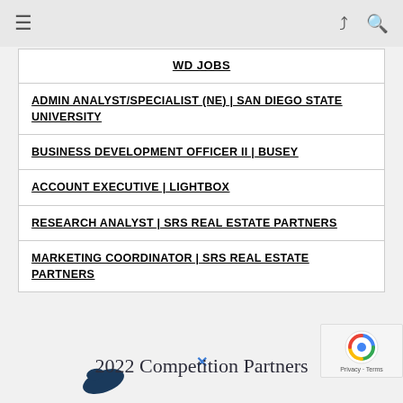≡  ↗  🔍
WD JOBS
ADMIN ANALYST/SPECIALIST (NE) | SAN DIEGO STATE UNIVERSITY
BUSINESS DEVELOPMENT OFFICER II | BUSEY
ACCOUNT EXECUTIVE | LIGHTBOX
RESEARCH ANALYST | SRS REAL ESTATE PARTNERS
MARKETING COORDINATOR | SRS REAL ESTATE PARTNERS
2022 Competition Partners